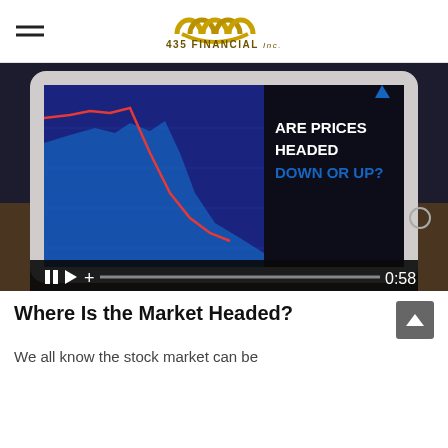435 FINANCIAL Inc.
[Figure (screenshot): Video thumbnail showing a person holding a tablet displaying a stock market chart with a red declining line on a blue background. Text on screen reads 'ARE PRICES HEADED DOWN OR UP?' with a video progress bar showing 0:58.]
Where Is the Market Headed?
We all know the stock market can be